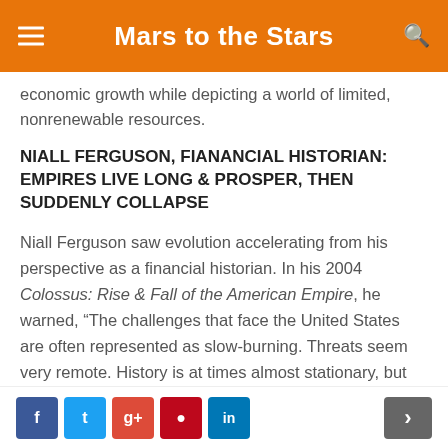Mars to the Stars
economic growth while depicting a world of limited, nonrenewable resources.
NIALL FERGUSON, FIANANCIAL HISTORIAN: EMPIRES LIVE LONG & PROSPER, THEN SUDDENLY COLLAPSE
Niall Ferguson saw evolution accelerating from his perspective as a financial historian. In his 2004 Colossus: Rise & Fall of the American Empire, he warned, “The challenges that face the United States are often represented as slow-burning. Threats seem very remote. History is at times almost stationary, but also capable of accelerating suddenly, like a sports car. What if collapse does not arrive over a number of centuries but comes